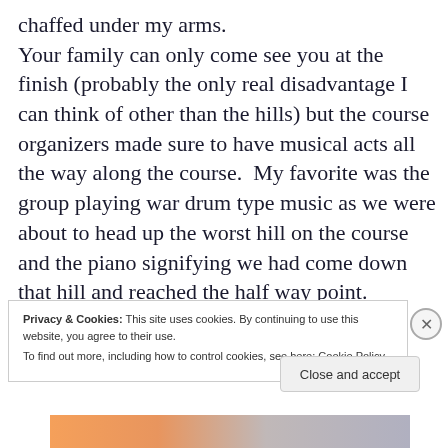chaffed under my arms. Your family can only come see you at the finish (probably the only real disadvantage I can think of other than the hills) but the course organizers made sure to have musical acts all the way along the course.  My favorite was the group playing war drum type music as we were about to head up the worst hill on the course and the piano signifying we had come down that hill and reached the half way point.
Privacy & Cookies: This site uses cookies. By continuing to use this website, you agree to their use. To find out more, including how to control cookies, see here: Cookie Policy
Close and accept